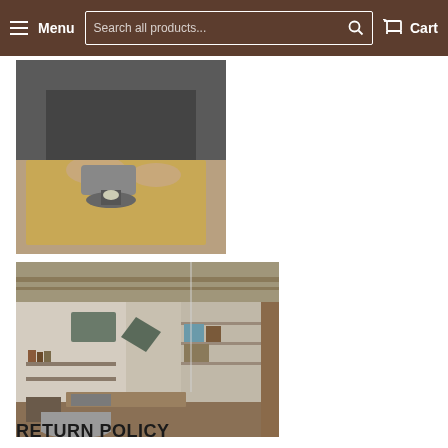Menu | Search all products... | Cart
[Figure (photo): Person kneeling and using an angle grinder on a flat board or panel in a workshop setting]
[Figure (photo): Interior of a woodworking/craft workshop with acoustic panels on the wall, shelves with tools and materials, and workbenches]
RETURN POLICY